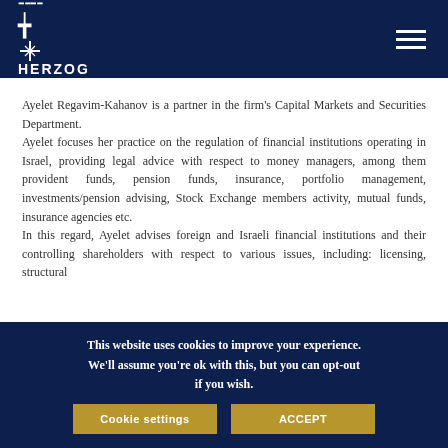HERZOG FOX & NEEMAN
Ayelet Regavim-Kahanov is a partner in the firm's Capital Markets and Securities Department. Ayelet focuses her practice on the regulation of financial institutions operating in Israel, providing legal advice with respect to money managers, among them provident funds, pension funds, insurance, portfolio management, investments/pension advising, Stock Exchange members activity, mutual funds, insurance agencies etc. In this regard, Ayelet advises foreign and Israeli financial institutions and their controlling shareholders with respect to various issues, including: licensing, structural
This website uses cookies to improve your experience. We'll assume you're ok with this, but you can opt-out if you wish.